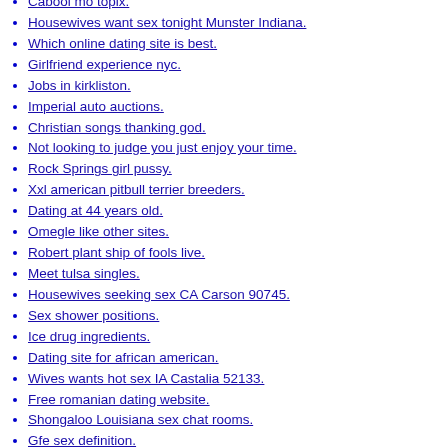Cabool mo topix.
Housewives want sex tonight Munster Indiana.
Which online dating site is best.
Girlfriend experience nyc.
Jobs in kirkliston.
Imperial auto auctions.
Christian songs thanking god.
Not looking to judge you just enjoy your time.
Rock Springs girl pussy.
Xxl american pitbull terrier breeders.
Dating at 44 years old.
Omegle like other sites.
Robert plant ship of fools live.
Meet tulsa singles.
Housewives seeking sex CA Carson 90745.
Sex shower positions.
Ice drug ingredients.
Dating site for african american.
Wives wants hot sex IA Castalia 52133.
Free romanian dating website.
Shongaloo Louisiana sex chat rooms.
Gfe sex definition.
Stornoway of Stornoway looking for girl.
Connecticut asian escorts.
Ladies wants hot sex NC Clarkton 28433.